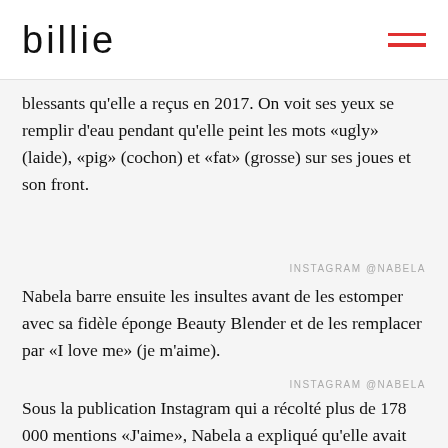billie
blessants qu'elle a reçus en 2017. On voit ses yeux se remplir d'eau pendant qu'elle peint les mots «ugly» (laide), «pig» (cochon) et «fat» (grosse) sur ses joues et son front.
INSTAGRAM @NABELA
Nabela barre ensuite les insultes avant de les estomper avec sa fidèle éponge Beauty Blender et de les remplacer par «I love me» (je m'aime).
INSTAGRAM @NABELA
Sous la publication Instagram qui a récolté plus de 178 000 mentions «J'aime», Nabela a expliqué qu'elle avait choisi de laisser derrière elle toutes les paroles